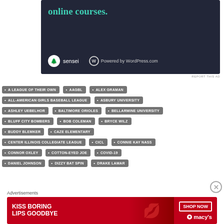[Figure (screenshot): Dark-background advertisement banner for Sensei online courses, powered by WordPress.com, showing text 'online courses.' in teal, with Sensei logo and WordPress powered-by badge at bottom.]
REPORT THIS AD
A LEAGUE OF THEIR OWN
AAGBL
ALEX GRAMAN
ALL-AMERICAN GIRLS BASEBALL LEAGUE
ASBURY UNIVERSITY
ASHLEY UEBELHOR
BALTIMORE ORIOLES
BELLARMINE UNIVERSITY
BLUFF CITY BOMBERS
BOB COLEMAN
BRYCE WILZ
BUDDY BLEMKER
CAZE ELEMENTARY
CENTER ILLINOIS COLLEGIATE LEAGUE
CICL
CONNIE KAY NASS
CONNOR OXLEY
COTTON-EYED JOE
COVID-19
DANIEL JOHNSON
DIZZY BAT SPIN
DRAKE LAMAR
Advertisements
[Figure (screenshot): Macy's advertisement banner with red background, text 'KISS BORING LIPS GOODBYE', 'SHOP NOW' button, and Macy's star logo on right side, with woman's face/lips photo.]